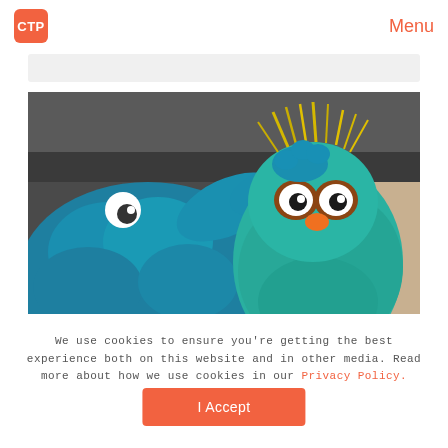CTP | Menu
[Figure (photo): Two Sesame Street muppet characters — Cookie Monster (blue, fuzzy, on the left) and Rosita (teal, with yellow and orange accents, on the right) — appearing to interact or high-five each other indoors]
We use cookies to ensure you're getting the best experience both on this website and in other media. Read more about how we use cookies in our Privacy Policy.
I Accept